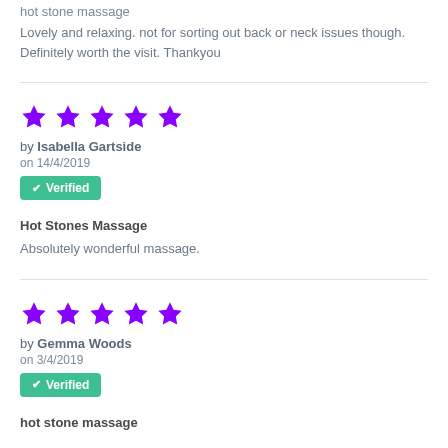hot stone massage
Lovely and relaxing. not for sorting out back or neck issues though. Definitely worth the visit. Thankyou
★★★★★ by Isabella Gartside on 14/4/2019 ✔ Verified
Hot Stones Massage
Absolutely wonderful massage.
★★★★★ by Gemma Woods on 3/4/2019 ✔ Verified
hot stone massage